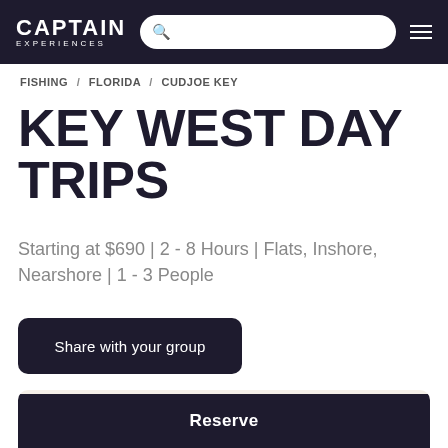CAPTAIN EXPERIENCES — navigation with search bar
FISHING / FLORIDA / CUDJOE KEY
KEY WEST DAY TRIPS
Starting at $690 | 2 - 8 Hours | Flats, Inshore, Nearshore | 1 - 3 People
Share with your group
PRICING & AVAILABILITY
Reserve